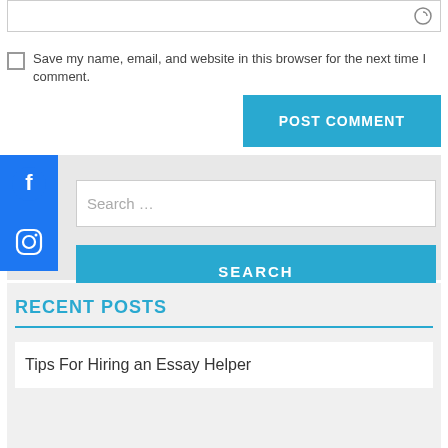Save my name, email, and website in this browser for the next time I comment.
POST COMMENT
[Figure (logo): Facebook icon white on blue square]
[Figure (logo): Instagram icon white on blue square]
Search ...
SEARCH
RECENT POSTS
Tips For Hiring an Essay Helper